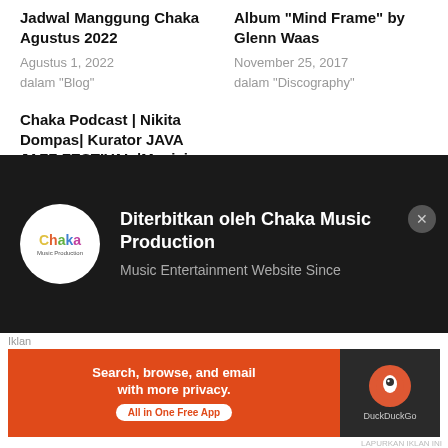Jadwal Manggung Chaka Agustus 2022
Agustus 1, 2022
dalam "Blog"
Album "Mind Frame" by Glenn Waas
November 25, 2017
dalam "Discography"
Chaka Podcast | Nikita Dompas| Kurator JAVA JAZZ FESTIVAL |Musisi Serba Bisa
Juni 20, 2020
dalam "Podcast"
Diterbitkan oleh Chaka Music Production
Music Entertainment Website Since
Iklan
[Figure (screenshot): DuckDuckGo advertisement banner: 'Search, browse, and email with more privacy. All in One Free App' with DuckDuckGo logo on dark background]